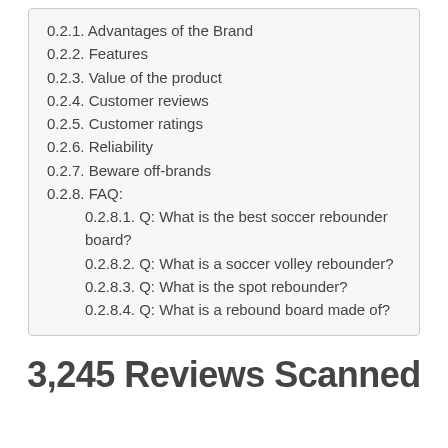0.2.1. Advantages of the Brand
0.2.2. Features
0.2.3. Value of the product
0.2.4. Customer reviews
0.2.5. Customer ratings
0.2.6. Reliability
0.2.7. Beware off-brands
0.2.8. FAQ:
0.2.8.1. Q: What is the best soccer rebounder board?
0.2.8.2. Q: What is a soccer volley rebounder?
0.2.8.3. Q: What is the spot rebounder?
0.2.8.4. Q: What is a rebound board made of?
3,245 Reviews Scanned